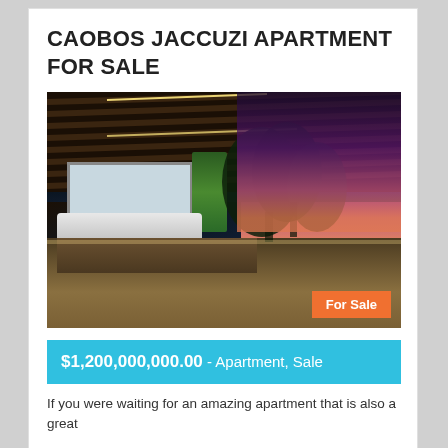CAOBOS JACCUZI APARTMENT FOR SALE
[Figure (photo): Rooftop terrace with jacuzzi, wooden slatted ceiling with strip lighting, large mirror, green plant wall, and city skyline at dusk/sunset]
$1,200,000,000.00 - Apartment, Sale
If you were waiting for an amazing apartment that is also a great